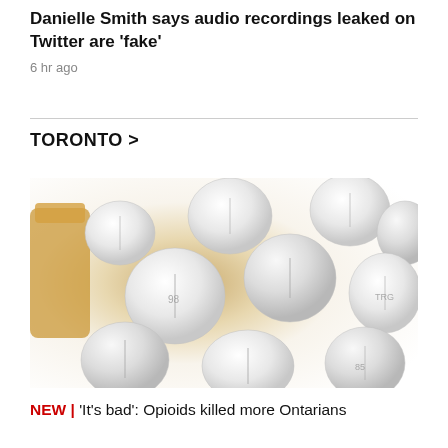Danielle Smith says audio recordings leaked on Twitter are 'fake'
6 hr ago
TORONTO >
[Figure (photo): Photograph of multiple white round pills/tablets spilled from an amber prescription bottle onto a white surface]
NEW | 'It's bad': Opioids killed more Ontarians